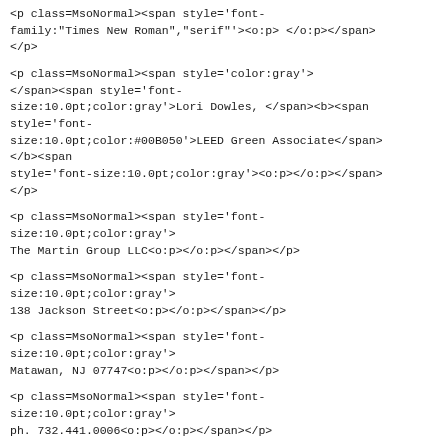<p class=MsoNormal><span style='font-family:"Times New Roman","serif"'><o:p> </o:p></span></p>
<p class=MsoNormal><span style='color:gray'></span><span style='font-size:10.0pt;color:gray'>Lori Dowles, </span><b><span style='font-size:10.0pt;color:#00B050'>LEED Green Associate</span></b><span style='font-size:10.0pt;color:gray'><o:p></o:p></span></p>
<p class=MsoNormal><span style='font-size:10.0pt;color:gray'>
The Martin Group LLC<o:p></o:p></span></p>
<p class=MsoNormal><span style='font-size:10.0pt;color:gray'>
138 Jackson Street<o:p></o:p></span></p>
<p class=MsoNormal><span style='font-size:10.0pt;color:gray'>
Matawan, NJ 07747<o:p></o:p></span></p>
<p class=MsoNormal><span style='font-size:10.0pt;color:gray'>
ph. 732.441.0006<o:p></o:p></span></p>